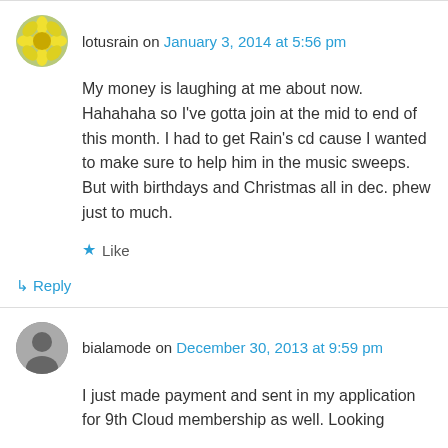lotusrain on January 3, 2014 at 5:56 pm
My money is laughing at me about now. Hahahaha so I've gotta join at the mid to end of this month. I had to get Rain's cd cause I wanted to make sure to help him in the music sweeps. But with birthdays and Christmas all in dec. phew just to much.
Like
Reply
bialamode on December 30, 2013 at 9:59 pm
I just made payment and sent in my application for 9th Cloud membership as well. Looking